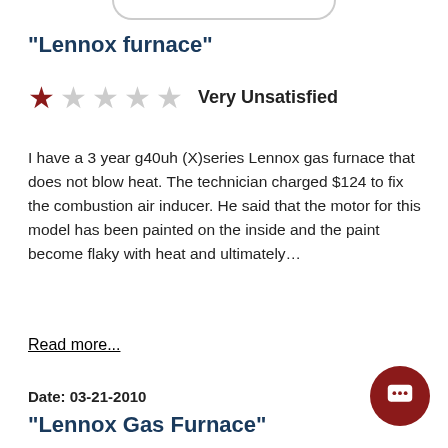"Lennox furnace"
[Figure (other): 1-star rating out of 5 stars, labeled Very Unsatisfied]
I have a 3 year g40uh (X)series Lennox gas furnace that does not blow heat. The technician charged $124 to fix the combustion air inducer. He said that the motor for this model has been painted on the inside and the paint become flaky with heat and ultimately…
Read more...
Date: 03-21-2010
"Lennox Gas Furnace"